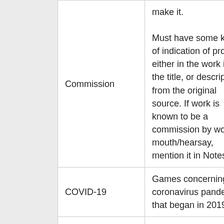| Term | Description |
| --- | --- |
| Commission | Must have some kind of indication of proof, either in the work itself, the title, or description from the original source. If work is known to be a commission by word of mouth/hearsay, mention it in Notes. |
| COVID-19 | Games concerning the coronavirus pandemic that began in 2019. |
| Cross-dressing | Games or animations where characters dress as the opposite sex. |